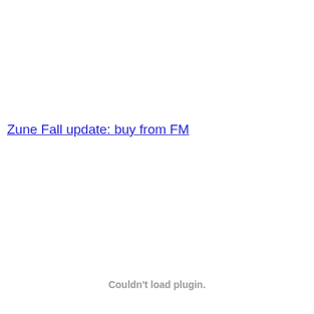Zune Fall update: buy from FM
Couldn't load plugin.